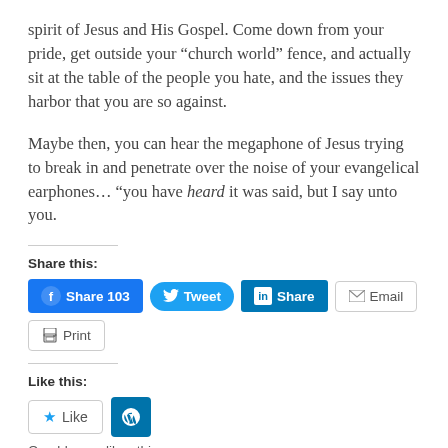spirit of Jesus and His Gospel. Come down from your pride, get outside your “church world” fence, and actually sit at the table of the people you hate, and the issues they harbor that you are so against.
Maybe then, you can hear the megaphone of Jesus trying to break in and penetrate over the noise of your evangelical earphones... “you have heard it was said, but I say unto you.
Share this:
[Figure (screenshot): Social share buttons: Facebook Share 103, Tweet, LinkedIn Share, Email, Print]
Like this:
[Figure (screenshot): Like button with star icon, WordPress icon button. Text below: One blogger likes this.]